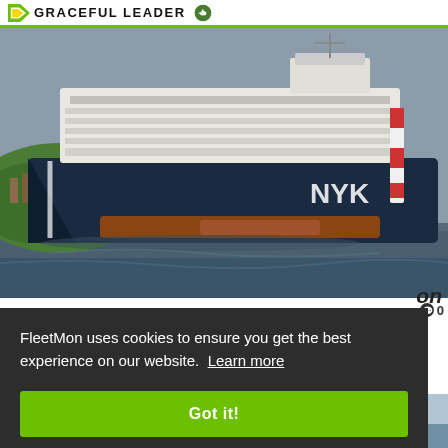GRACEFUL LEADER
[Figure (photo): Large blue-and-white car carrier vessel (RORO ship) with NYK markings sailing in harbor waters, with green hills in the background on the left.]
on
0
FleetMon uses cookies to ensure you get the best experience on our website. Learn more
Got it!
[Figure (photo): Partial view of a second ship photograph at the bottom of the page, showing a white vessel at a dock.]